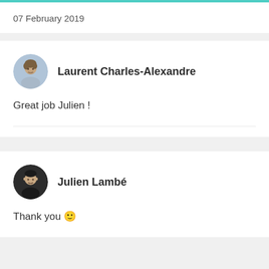07 February 2019
[Figure (photo): Avatar photo of Laurent Charles-Alexandre]
Laurent Charles-Alexandre
Great job Julien !
07 February 2019
[Figure (photo): Avatar photo of Julien Lambé]
Julien Lambé
Thank you 🙂